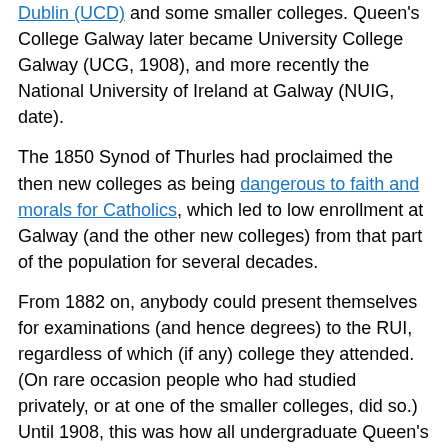Dublin (UCD) and some smaller colleges. Queen's College Galway later became University College Galway (UCG, 1908), and more recently the National University of Ireland at Galway (NUIG, date).
The 1850 Synod of Thurles had proclaimed the then new colleges as being dangerous to faith and morals for Catholics, which led to low enrollment at Galway (and the other new colleges) from that part of the population for several decades.
From 1882 on, anybody could present themselves for examinations (and hence degrees) to the RUI, regardless of which (if any) college they attended.  (On rare occasion people who had studied privately, or at one of the smaller colleges, did so.)  Until 1908, this was how all undergraduate Queen's Galway degrees were earned.
The early history of the department of maths at Galway has been explored in print in some depth by Seán Tobin, who worked there for 40 years from 1955, also serving as department head for many years.  He had done his BA and MA there earlier, before doing his PhD with Graham Higman in Manchester.  This can be read in the appropriate chapter (pages 159-183) of the book From Queen's College to National University: essays on the academic history of QCG/UCG/NUI, Galway (Four Courts Press, 1999), edited by Tadhg